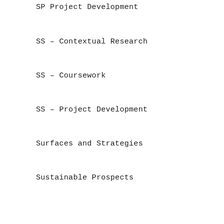SP Project Development
SS – Contextual Research
SS – Coursework
SS – Project Development
Surfaces and Strategies
Sustainable Prospects
Uncategorized
SEARCH
CATEGORIES